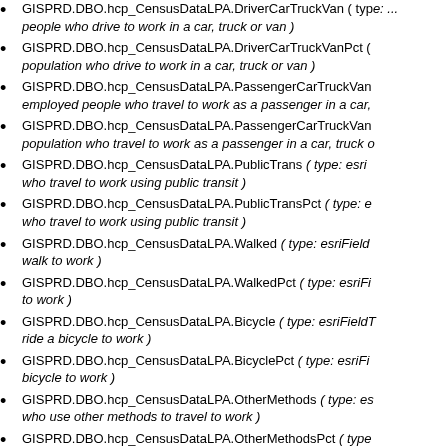GISPRD.DBO.hcp_CensusDataLPA.DriverCarTruckVan ( type: ... people who drive to work in a car, truck or van )
GISPRD.DBO.hcp_CensusDataLPA.DriverCarTruckVanPct ( ... population who drive to work in a car, truck or van )
GISPRD.DBO.hcp_CensusDataLPA.PassengerCarTruckVan... employed people who travel to work as a passenger in a car,
GISPRD.DBO.hcp_CensusDataLPA.PassengerCarTruckVan... population who travel to work as a passenger in a car, truck o
GISPRD.DBO.hcp_CensusDataLPA.PublicTrans ( type: esriF... who travel to work using public transit )
GISPRD.DBO.hcp_CensusDataLPA.PublicTransPct ( type: e... who travel to work using public transit )
GISPRD.DBO.hcp_CensusDataLPA.Walked ( type: esriField... walk to work )
GISPRD.DBO.hcp_CensusDataLPA.WalkedPct ( type: esriFi... to work )
GISPRD.DBO.hcp_CensusDataLPA.Bicycle ( type: esriFieldT... ride a bicycle to work )
GISPRD.DBO.hcp_CensusDataLPA.BicyclePct ( type: esriFi... bicycle to work )
GISPRD.DBO.hcp_CensusDataLPA.OtherMethods ( type: es... who use other methods to travel to work )
GISPRD.DBO.hcp_CensusDataLPA.OtherMethodsPct ( type... who use other methods to travel to work )
GISPRD.DBO.hcp_CensusDataLPA.MedCommuteDurationM... commute duration in minutes )